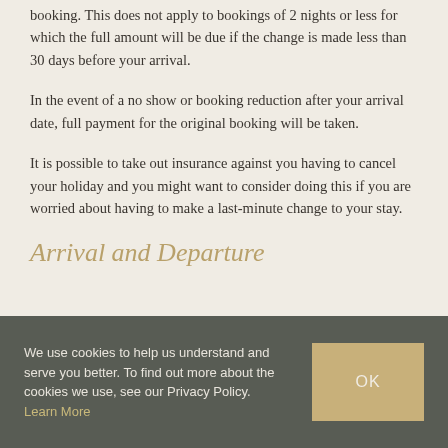booking. This does not apply to bookings of 2 nights or less for which the full amount will be due if the change is made less than 30 days before your arrival.
In the event of a no show or booking reduction after your arrival date, full payment for the original booking will be taken.
It is possible to take out insurance against you having to cancel your holiday and you might want to consider doing this if you are worried about having to make a last-minute change to your stay.
Arrival and Departure
We use cookies to help us understand and serve you better. To find out more about the cookies we use, see our Privacy Policy. Learn More